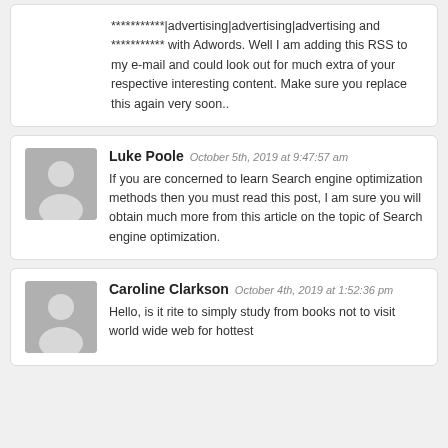***********|advertising|advertising|advertising and *********** with Adwords. Well I am adding this RSS to my e-mail and could look out for much extra of your respective interesting content. Make sure you replace this again very soon..
Luke Poole October 5th, 2019 at 9:47:57 am
If you are concerned to learn Search engine optimization methods then you must read this post, I am sure you will obtain much more from this article on the topic of Search engine optimization.
Caroline Clarkson October 4th, 2019 at 1:52:36 pm
Hello, is it rite to simply study from books not to visit world wide web for hottest